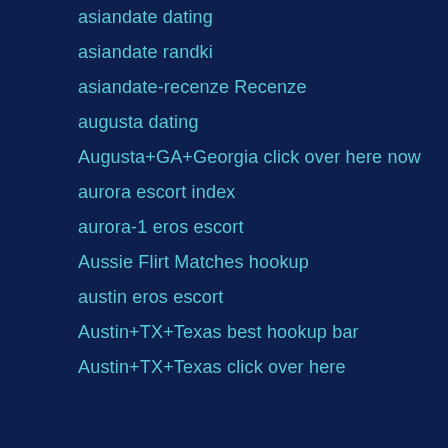asiandate dating
asiandate randki
asiandate-recenze Recenze
augusta dating
Augusta+GA+Georgia click over here now
aurora escort index
aurora-1 eros escort
Aussie Flirt Matches hookup
austin eros escort
Austin+TX+Texas best hookup bar
Austin+TX+Texas click over here